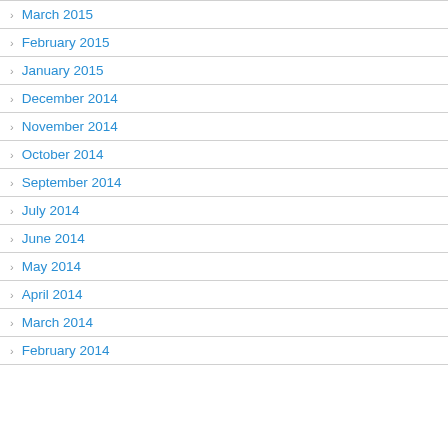March 2015
February 2015
January 2015
December 2014
November 2014
October 2014
September 2014
July 2014
June 2014
May 2014
April 2014
March 2014
February 2014